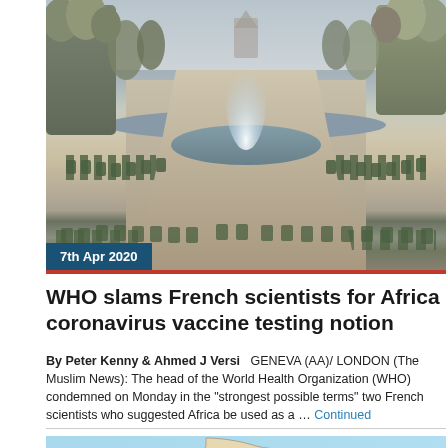[Figure (photo): Empty park with fountain, tree-lined path, and green chairs, taken during COVID-19 lockdown]
7th Apr 2020
WHO slams French scientists for Africa coronavirus vaccine testing notion
By Peter Kenny & Ahmed J Versi   GENEVA (AA)/ LONDON (The Muslim News): The head of the World Health Organization (WHO) condemned on Monday in the "strongest possible terms" two French scientists who suggested Africa be used as a … Continued
[Figure (map): Map of Scotland showing Aberdeen and Ben Nevis locations]